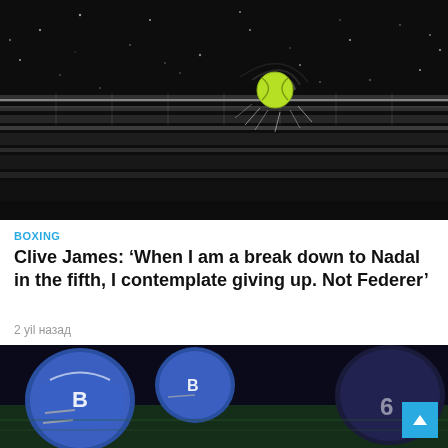[Figure (photo): High-speed photography of a tennis ball bouncing on a wet court surface, with water droplets spraying outward and motion blur rings visible around the ball. Black and white court markings visible below.]
BOXING
Clive James: ‘When I am a break down to Nadal in the fifth, I contemplate giving up. Not Federer’
2 yil назад
[Figure (photo): American football players in blue and white helmets lined up against opponents in dark jerseys, shot at field level during a game.]